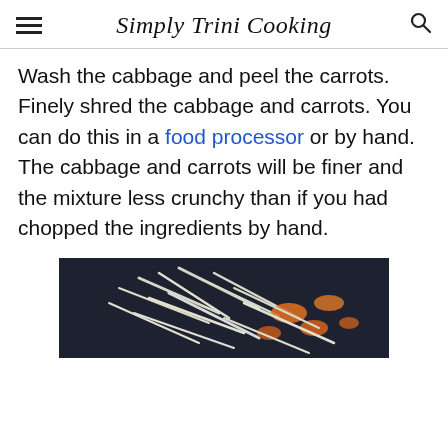Simply Trini Cooking
Wash the cabbage and peel the carrots. Finely shred the cabbage and carrots. You can do this in a food processor or by hand. The cabbage and carrots will be finer and the mixture less crunchy than if you had chopped the ingredients by hand.
[Figure (photo): Shredded cabbage and carrots in a dark bowl or container]